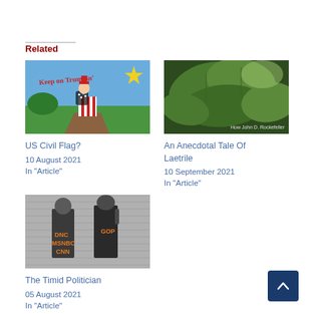Related
[Figure (illustration): Cartoon illustration with text 'Keep on Trumpin' showing a figure in patriotic American flag clothing walking on a path with blue sky and green landscape]
US Civil Flag?
10 August 2021
In "Article"
[Figure (photo): Close-up photograph of green leaves with text overlay 'How John D. Rockefeller']
An Anecdotal Tale Of Laetrile
10 September 2021
In "Article"
[Figure (photo): Black and white photograph of two figures with orange text labels 'DNC MSNBC CNN' and 'GOP']
The Timid Politician
05 August 2021
In "Article"